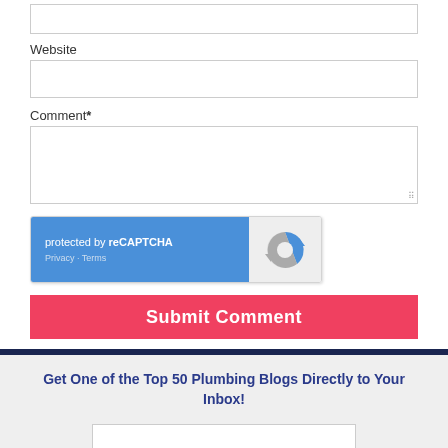Website
Comment*
[Figure (other): reCAPTCHA widget with blue background showing 'protected by reCAPTCHA', Privacy - Terms links, and Google reCAPTCHA logo on grey background]
Submit Comment
Get One of the Top 50 Plumbing Blogs Directly to Your Inbox!
Get the Blog!